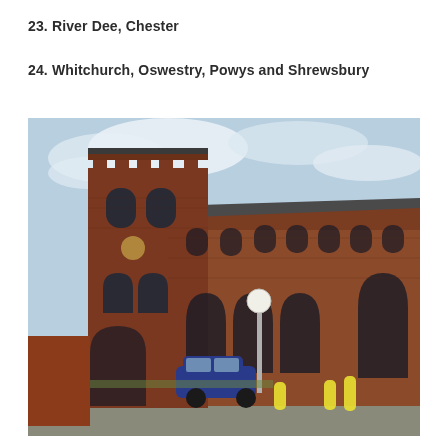23. River Dee, Chester
24. Whitchurch, Oswestry, Powys and Shrewsbury
[Figure (photo): Exterior photograph of a large red sandstone medieval church building (likely Shrewsbury Abbey or similar), showing a square castellated tower on the left, tall Gothic arched windows along the nave, and brick buttresses. A white globe street lamp stands in the foreground, and a dark blue car is parked on the street in front. The sky is light blue with some clouds.]